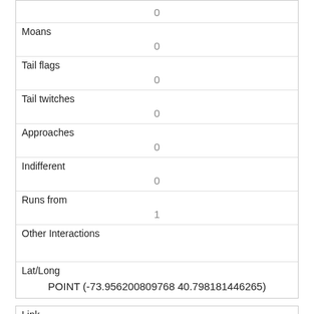| Moans | 0 |
| Tail flags | 0 |
| Tail twitches | 0 |
| Approaches | 0 |
| Indifferent | 0 |
| Runs from | 1 |
| Other Interactions |  |
| Lat/Long | POINT (-73.956200809768 40.798181446265) |
| Link | 723 |